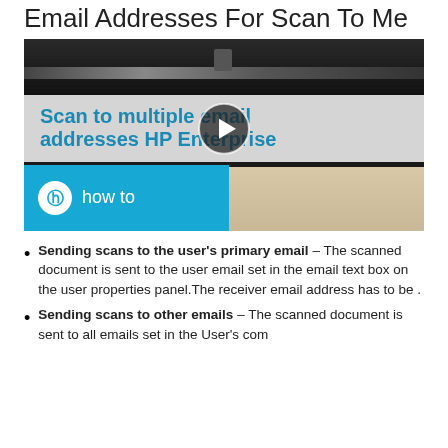Email Addresses For Scan To Me
[Figure (screenshot): HP Enterprise how-to video thumbnail showing a scanner with the text 'Scan to multiple email addresses HP Enterprise' and an HP logo with 'how to' label on a blue background, with a play button overlay.]
Sending scans to the user's primary email – The scanned document is sent to the user email set in the email text box on the user properties panel.The receiver email address has to be .
Sending scans to other emails – The scanned document is sent to all emails set in the User's com